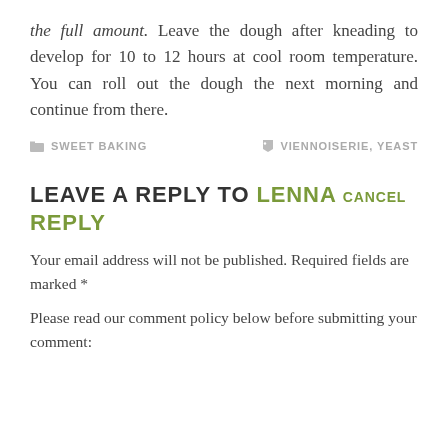the full amount. Leave the dough after kneading to develop for 10 to 12 hours at cool room temperature. You can roll out the dough the next morning and continue from there.
SWEET BAKING   VIENNOISERIE, YEAST
LEAVE A REPLY TO LENNA CANCEL REPLY
Your email address will not be published. Required fields are marked *
Please read our comment policy below before submitting your comment: